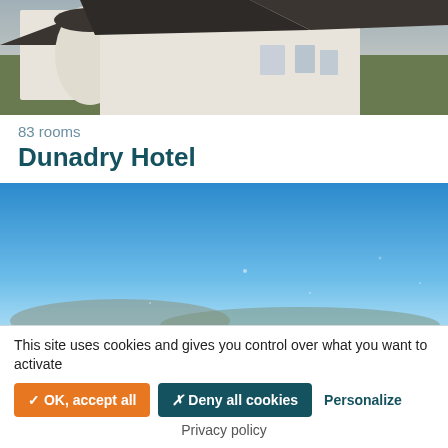[Figure (photo): Top portion of a hotel building photo showing white/grey building with dark roof against a light sky, cropped at top]
83 rooms
Dunadry Hotel
[Figure (photo): Landscape photo showing a bright blue sky with a view of green trees and hills/mountains in the background, taken through a window with some dust/spots visible]
40 rooms
Let's Go Hydro
This site uses cookies and gives you control over what you want to activate
✓ OK, accept all
✗ Deny all cookies
Personalize
Privacy policy